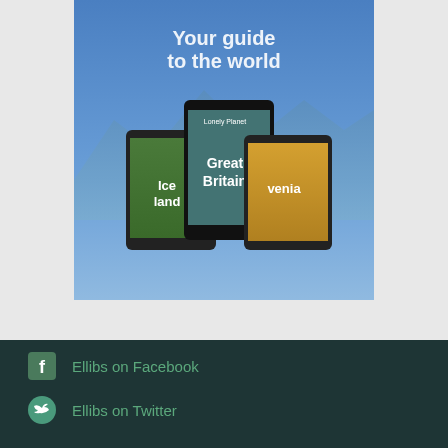[Figure (illustration): Advertisement image showing three tablets/e-readers displaying travel guide book covers for Iceland, Great Britain, and Slovenia, with the text 'Your guide to the world' on a blue sky background. Likely a Lonely Planet ebook advertisement.]
Ellibs on Facebook
Ellibs on Twitter